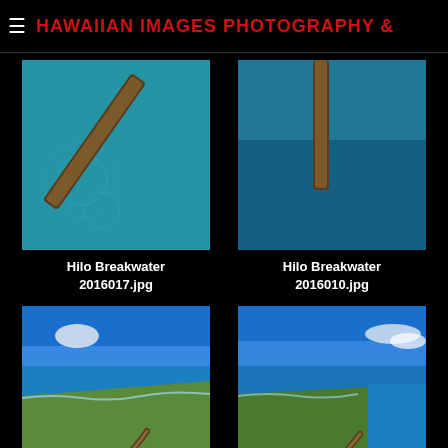≡ HAWAIIAN IMAGES PHOTOGRAPHY &
[Figure (photo): Aerial top-down view of Hilo Breakwater over turquoise ocean water, pier extending diagonally]
Hilo Breakwater 2016017.jpg
[Figure (photo): Aerial top-down view of Hilo Breakwater over blue ocean water, pier extending diagonally from top]
Hilo Breakwater 2016010.jpg
[Figure (photo): Aerial view of Hilo Breakwater from higher altitude showing coastline, blue sky with one cloud, curved breakwater extending into turquoise bay]
Hilo Breakwater
[Figure (photo): Aerial view of Hilo Breakwater from higher altitude showing coastline, blue sky with clouds on right, curved breakwater extending into blue bay]
Hilo Breakwater